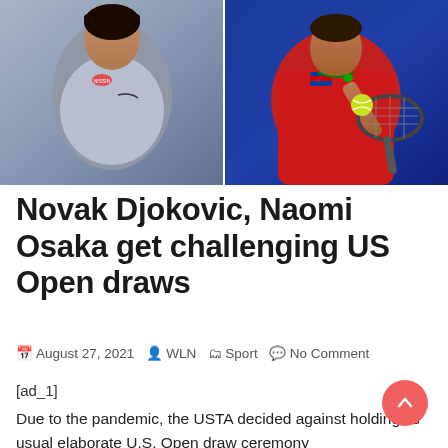[Figure (photo): Two side-by-side sports photos: left shows a female tennis player (Naomi Osaka) in a light blue/gray outfit, right shows a male tennis player (Novak Djokovic) in a red outfit hitting a ball with a racket against a blue background.]
Novak Djokovic, Naomi Osaka get challenging US Open draws
August 27, 2021  WLN  Sport  No Comment
[ad_1]
Due to the pandemic, the USTA decided against holding its usual elaborate U.S. Open draw ceremony